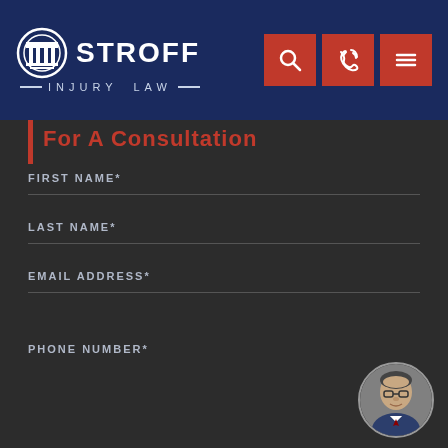STROFF INJURY LAW — navigation header with logo, search, phone, and menu buttons
For A Consultation
FIRST NAME*
LAST NAME*
EMAIL ADDRESS*
[Figure (photo): Circular portrait photo of a middle-aged man with glasses wearing a suit, positioned at bottom right]
PHONE NUMBER*